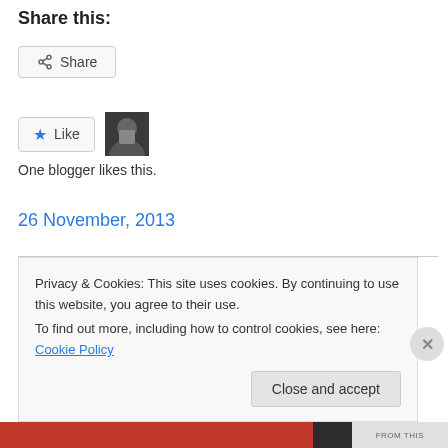Share this:
[Figure (screenshot): Share button with share icon]
[Figure (screenshot): Like button with star icon and blogger avatar thumbnail]
One blogger likes this.
26 November, 2013
download the hubie sounds alternative xmas special
Privacy & Cookies: This site uses cookies. By continuing to use this website, you agree to their use.
To find out more, including how to control cookies, see here: Cookie Policy
Close and accept